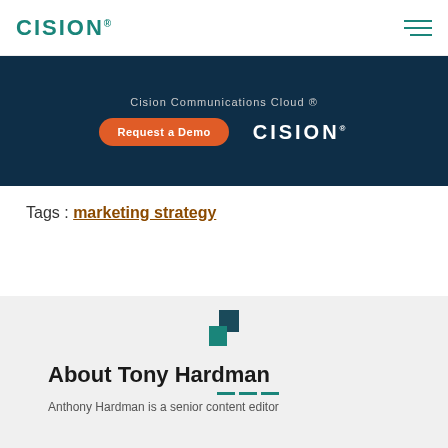CISION
[Figure (infographic): Cision Communications Cloud banner with 'Request a Demo' orange button and white CISION logo on dark navy background]
Tags : marketing strategy
[Figure (logo): Cision icon — two overlapping squares in dark teal/dark green colors]
About Tony Hardman
Anthony Hardman is a senior content editor